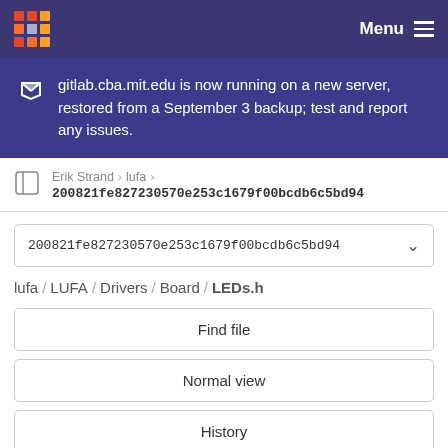Menu
gitlab.cba.mit.edu is now running on a new server, restored from a September 3 backup; test and report any issues.
Erik Strand > lufa > 200821fe827230570e253c1679f00bcdb6c5bd94
200821fe827230570e253c1679f00bcdb6c5bd94
lufa / LUFA / Drivers / Board / LEDs.h
Find file
Normal view
History
Permalink